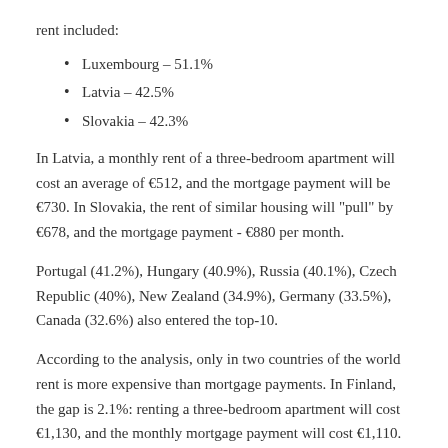rent included:
Luxembourg – 51.1%
Latvia – 42.5%
Slovakia – 42.3%
In Latvia, a monthly rent of a three-bedroom apartment will cost an average of €512, and the mortgage payment will be €730. In Slovakia, the rent of similar housing will "pull" by €678, and the mortgage payment - €880 per month.
Portugal (41.2%), Hungary (40.9%), Russia (40.1%), Czech Republic (40%), New Zealand (34.9%), Germany (33.5%), Canada (32.6%) also entered the top-10.
According to the analysis, only in two countries of the world rent is more expensive than mortgage payments. In Finland, the gap is 2.1%: renting a three-bedroom apartment will cost €1,130, and the monthly mortgage payment will cost €1,110. In Italy, the gap is even smaller: rented housing will cost